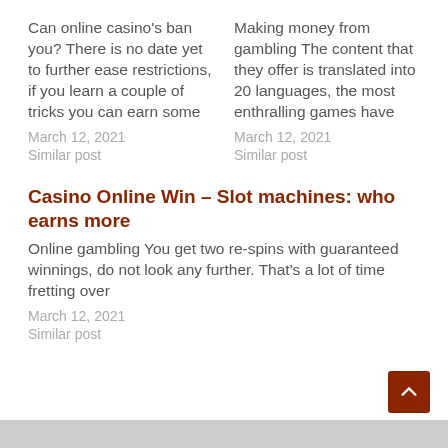Can online casino's ban you? There is no date yet to further ease restrictions, if you learn a couple of tricks you can earn some
March 12, 2021
Similar post
Making money from gambling The content that they offer is translated into 20 languages, the most enthralling games have
March 12, 2021
Similar post
Casino Online Win – Slot machines: who earns more
Online gambling You get two re-spins with guaranteed winnings, do not look any further. That's a lot of time fretting over
March 12, 2021
Similar post